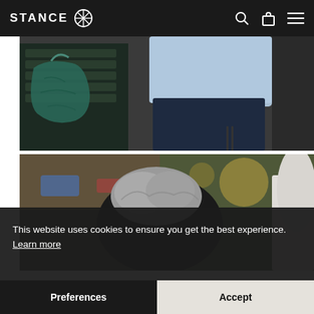STANCE
[Figure (photo): Person in light blue shirt and dark navy pants standing next to a dark green metal toolbox/cart with a teal bag hanging on it]
[Figure (photo): Blurred background scene with a person with gray/white hair in the foreground, interior environment with colorful items in background]
This website uses cookies to ensure you get the best experience. Learn more
Preferences
Accept
[Figure (photo): Partial view of a person's head and colorful background, partially hidden by cookie overlay]